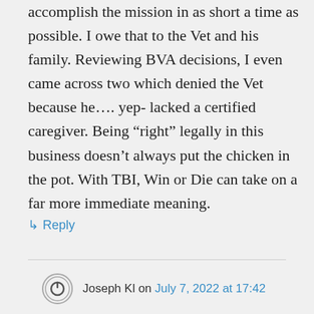accomplish the mission in as short a time as possible. I owe that to the Vet and his family. Reviewing BVA decisions, I even came across two which denied the Vet because he…. yep- lacked a certified caregiver. Being “right” legally in this business doesn’t always put the chicken in the pot. With TBI, Win or Die can take on a far more immediate meaning.
↳ Reply
Joseph Kl on July 7, 2022 at 17:42
I agree with you totally. I’ve read many claims where they do exactly as you point out to numerous Vets. I